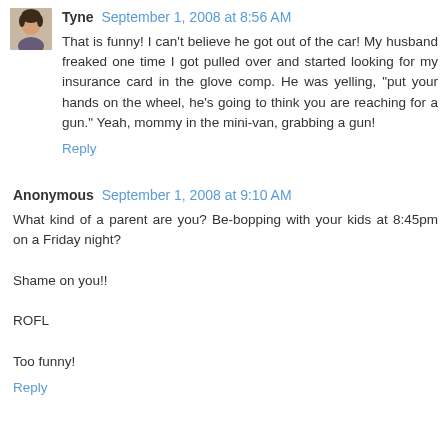Tyne September 1, 2008 at 8:56 AM
That is funny! I can't believe he got out of the car! My husband freaked one time I got pulled over and started looking for my insurance card in the glove comp. He was yelling, "put your hands on the wheel, he's going to think you are reaching for a gun." Yeah, mommy in the mini-van, grabbing a gun!
Reply
Anonymous September 1, 2008 at 9:10 AM
What kind of a parent are you? Be-bopping with your kids at 8:45pm on a Friday night?

Shame on you!!

ROFL

Too funny!
Reply